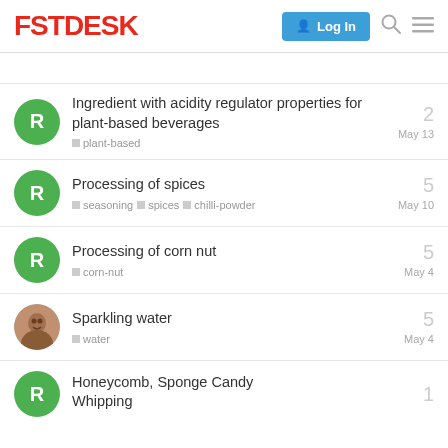FSTDESK  Log In
Ingredient with acidity regulator properties for plant-based beverages  plant-based  May 13  2
Processing of spices  seasoning spices chilli-powder  May 10  5
Processing of corn nut  corn-nut  May 4  5
Sparkling water  water  May 4  5
Honeycomb, Sponge Candy Whipping  1